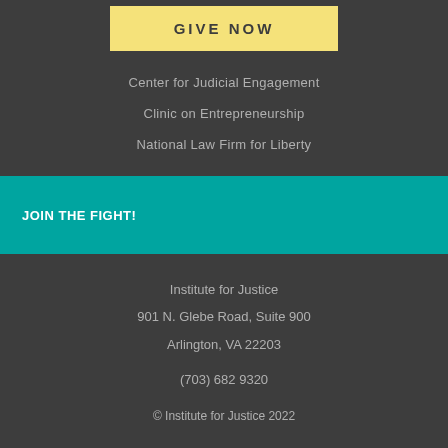GIVE NOW
Center for Judicial Engagement
Clinic on Entrepreneurship
National Law Firm for Liberty
JOIN THE FIGHT!
[Figure (other): Social media icons: Twitter, YouTube, Facebook]
Institute for Justice
901 N. Glebe Road, Suite 900
Arlington, VA 22203
(703) 682 9320
© Institute for Justice 2022